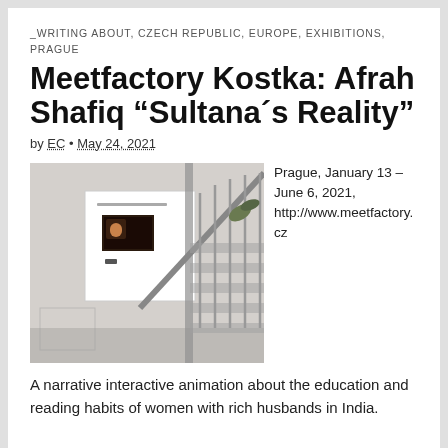_WRITING ABOUT, CZECH REPUBLIC, EUROPE, EXHIBITIONS, PRAGUE
Meetfactory Kostka: Afrah Shafiq “Sultana´s Reality”
by EC • May 24, 2021
[Figure (photo): Installation view showing a white framed poster on a wall with the text 'Afrah Shafiq, Sultana's Reality' and a small image, next to a metal staircase railing in an industrial gallery space.]
Prague, January 13 – June 6, 2021, http://www.meetfactory.cz A narrative interactive animation about the education and reading habits of women with rich husbands in India.